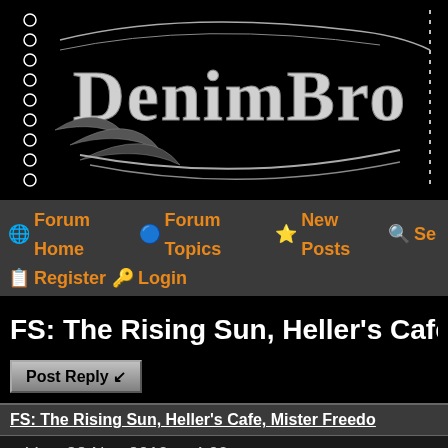[Figure (logo): DenimBro forum logo — ornate black and white lettering 'DENIMBRO' with decorative flourishes on black background]
🌐 Forum Home 🔵 Forum Topics ⭐ New Posts 🔍 Se... 📋 Register 🔑 Login
FS: The Rising Sun, Heller's Cafe, Mist...
Post Reply ↙
FS: The Rising Sun, Heller's Cafe, Mister Freedo...
• Vato 28 Nov 2019 at 4:09am
Update see below